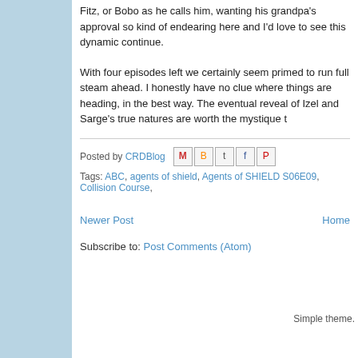Fitz, or Bobo as he calls him, wanting his grandpa's approval so kind of endearing here and I'd love to see this dynamic continue.
With four episodes left we certainly seem primed to run full steam ahead. I honestly have no clue where things are heading, in the best way. The eventual reveal of Izel and Sarge's true natures are worth the mystique that
Posted by CRDBlog
Tags: ABC, agents of shield, Agents of SHIELD S06E09, Collision Course,
Newer Post
Home
Subscribe to: Post Comments (Atom)
Simple theme.